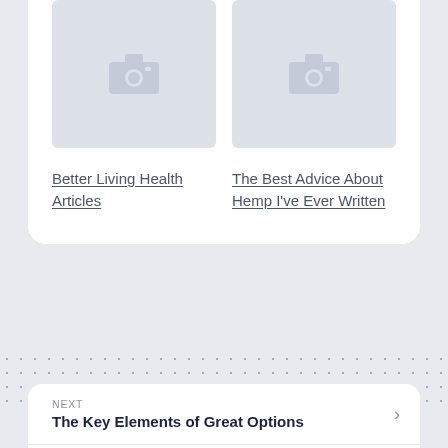[Figure (illustration): Placeholder image thumbnails (gray background with camera icon) arranged in two columns]
Better Living Health Articles
The Best Advice About Hemp I've Ever Written
NEXT
The Key Elements of Great Options
PREVIOUS